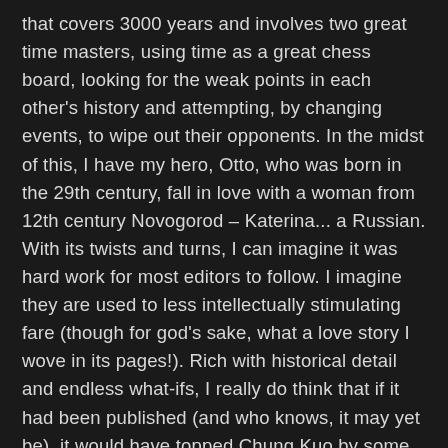that covers 3000 years and involves two great time masters, using time as a great chess board, looking for the weak points in each other's history and attempting, by changing events, to wipe out their opponents. In the midst of this, I have my hero, Otto, who was born in the 29th century, fall in love with a woman from 12th century Novogorod – Katerina... a Russian. With its twists and turns, I can imagine it was hard work for most editors to follow. I imagine they are used to less intellectually stimulating fare (though for god's sake, what a love story I wove in its pages!). Rich with historical detail and endless what-ifs, I really do think that if it had been published (and who knows, it may yet be), it would have topped Chung Kuo by some degrees. It's a big tale, though, by Chung Kuo's standards it's only a third the size. What's more, it's all told first person, exactly as Otto experiences it, and this gives the story an immediacy that's sometimes lacking in Chung Kuo. But there you go. I have it in a drawer. One of my grand-daughters (or sons) may discover it some day and get it published. Jeeze, Grandpa